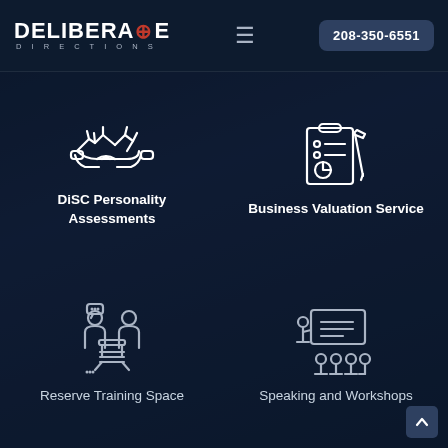[Figure (logo): Deliberate Directions logo with compass icon, white text on dark navy background]
208-350-6551
[Figure (illustration): White outline handshake icon]
DiSC Personality Assessments
[Figure (illustration): White outline clipboard/report with pen and chart icon]
Business Valuation Service
[Figure (illustration): White outline two people at a table with speech bubbles icon]
Reserve Training Space
[Figure (illustration): White outline presenter at board with audience icon]
Speaking and Workshops